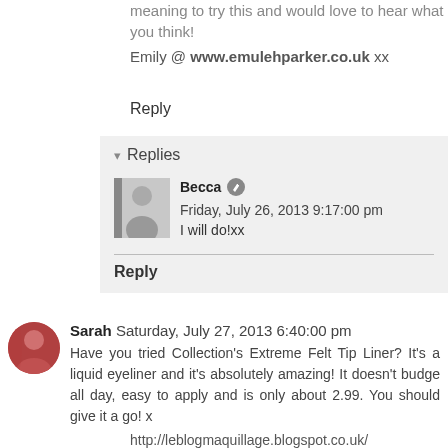meaning to try this and would love to hear what you think!
Emily @ www.emulehparker.co.uk xx
Reply
Replies
Becca  Friday, July 26, 2013 9:17:00 pm
I will do!xx
Reply
Sarah  Saturday, July 27, 2013 6:40:00 pm
Have you tried Collection's Extreme Felt Tip Liner? It's a liquid eyeliner and it's absolutely amazing! It doesn't budge all day, easy to apply and is only about 2.99. You should give it a go! x
http://leblogmaquillage.blogspot.co.uk/
Reply